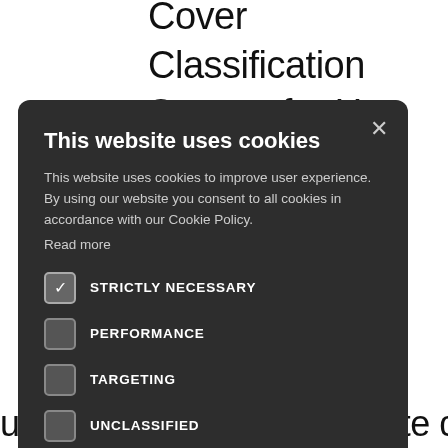Cover Classification System for Use with Remote Sensor Data, nt on, V 1, J., & Barr, an land images al mm Eng 49–958. adi, G.B., x duse/land n Mahi jarat, using multitemporal satellite data,
This website uses cookies
This website uses cookies to improve user experience. By using our website you consent to all cookies in accordance with our Cookie Policy. Read more
STRICTLY NECESSARY
PERFORMANCE
TARGETING
UNCLASSIFIED
ACCEPT ALL
DECLINE ALL
SHOW DETAILS